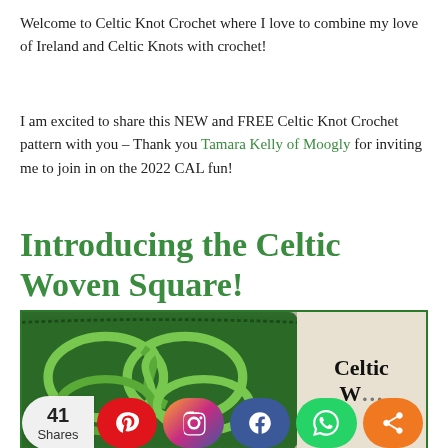Welcome to Celtic Knot Crochet where I love to combine my love of Ireland and Celtic Knots with crochet!
I am excited to share this NEW and FREE Celtic Knot Crochet pattern with you – Thank you Tamara Kelly of Moogly for inviting me to join in on the 2022 CAL fun!
Introducing the Celtic Woven Square!
[Figure (photo): Photo of a crocheted Celtic Woven Square in dark green with lighter green knot design on a light background, with text label 'Celtic W...' on the right side. A social share bar overlays the bottom with 41 Shares, Pinterest, Instagram, Facebook, WhatsApp, and share buttons.]